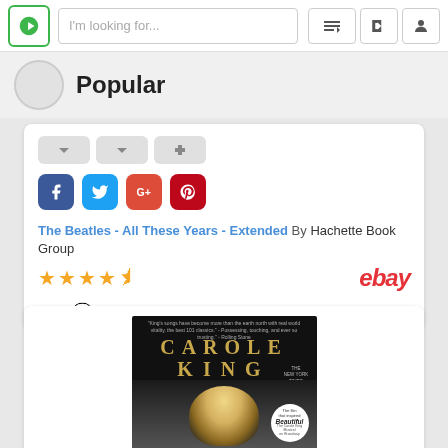I'm looking for...
Popular
The Beatles - All These Years - Extended By Hachette Book Group
★★★★☆  ebay
♥ 0  💬 0  👁 0
[Figure (photo): Carole King book cover with golden text on black background, showing a woman with curly hair. A 'Beautiful' circular badge is visible at the bottom right. The New York Times Bestseller label is on the right side.]